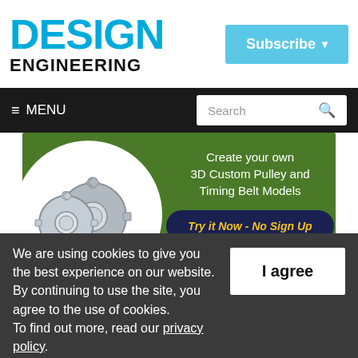DESIGN ENGINEERING
Subscribe
≡ MENU
Search
[Figure (infographic): Advertisement banner on green background showing two silver timing belt pulleys/gears in a white circle on the left, with text 'Create your own 3D Custom Pulley and Timing Belt Models' and a dark navy rounded button reading 'Try it Now - No Sign Up' in yellow italic text.]
We are using cookies to give you the best experience on our website.
By continuing to use the site, you agree to the use of cookies.
To find out more, read our privacy policy.
I agree